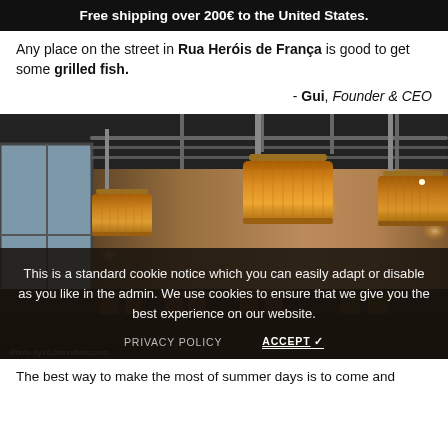Free shipping over 200€ to the United States.
Any place on the street in Rua Heróis de França is good to get some grilled fish.
- Gui, Founder & CEO
[Figure (photo): Interior of a restaurant with warm pendant lamp shades hanging from an industrial ceiling with exposed pipes, wooden chairs and tables visible, large window on left side.]
This is a standard cookie notice which you can easily adapt or disable as you like in the admin. We use cookies to ensure that we give you the best experience on our website.
PRIVACY POLICY   ACCEPT ✓
The best way to make the most of summer days is to come and